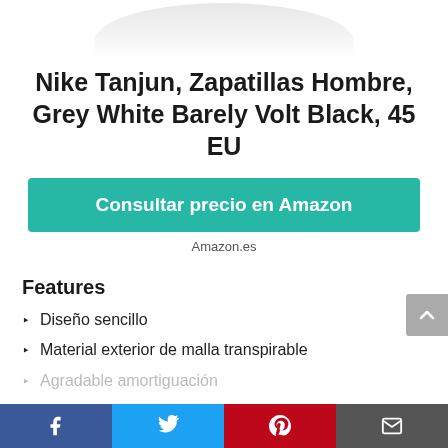[Figure (photo): Partial image of a white Nike Tanjun sneaker at the top of the page]
Nike Tanjun, Zapatillas Hombre, Grey White Barely Volt Black, 45 EU
Consultar precio en Amazon
Amazon.es
Features
Diseño sencillo
Material exterior de malla transpirable
Agradable amortiguación